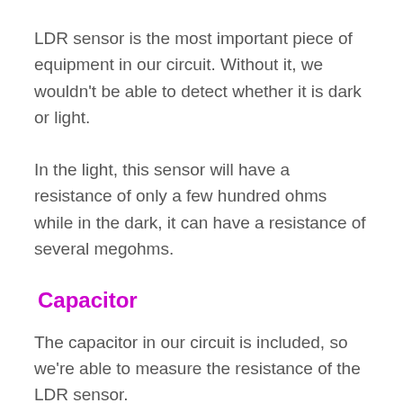LDR sensor is the most important piece of equipment in our circuit. Without it, we wouldn't be able to detect whether it is dark or light.
In the light, this sensor will have a resistance of only a few hundred ohms while in the dark, it can have a resistance of several megohms.
Capacitor
The capacitor in our circuit is included, so we're able to measure the resistance of the LDR sensor.
A capacitor essentially acts like a battery,